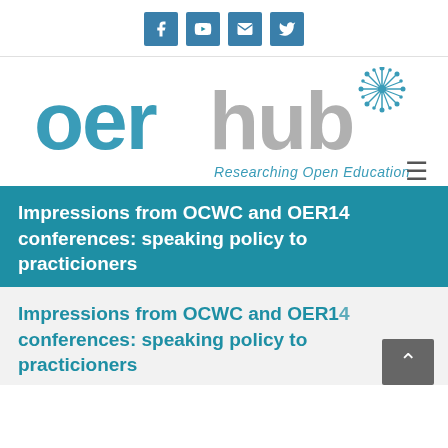Social media icons: Facebook, YouTube, Email, Twitter
[Figure (logo): OER Hub logo with teal 'oer' text, grey 'hub' text, decorative snowflake/starburst graphic, and tagline 'Researching Open Education']
Impressions from OCWC and OER14 conferences: speaking policy to practicioners
Impressions from OCWC and OER14 conferences: speaking policy to practicioners